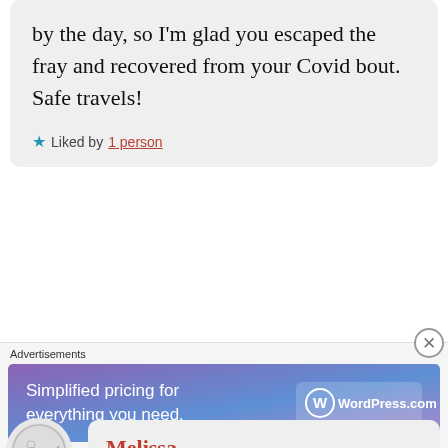by the day, so I'm glad you escaped the fray and recovered from your Covid bout. Safe travels!
Liked by 1 person
Melissa
13th Jan 2022 at 8:09 am
thank you. stay safe. I don't think anywhere right is free from the crazy's of covid madness. In
[Figure (other): WordPress.com advertisement banner: Simplified pricing for everything you need.]
Advertisements